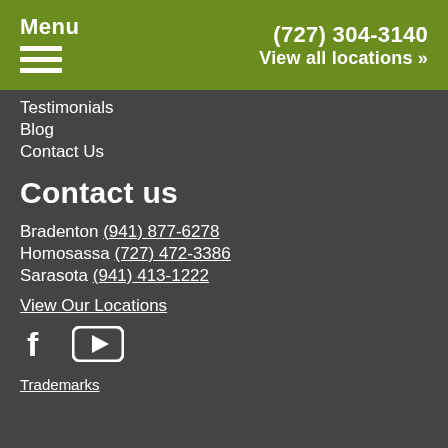Menu | (727) 304-3140 | View all locations »
Testimonials
Blog
Contact Us
Contact us
Bradenton (941) 877-6278
Homosassa (727) 472-3386
Sarasota (941) 413-1222
View Our Locations
[Figure (illustration): Facebook and YouTube social media icons in white]
Trademarks